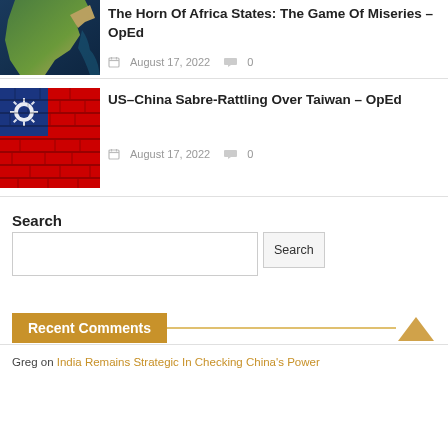[Figure (photo): Satellite image of the Horn of Africa region showing coastline and landmass]
The Horn Of Africa States: The Game Of Miseries – OpEd
August 17, 2022   0
[Figure (photo): Painted flag of Taiwan on brick wall]
US–China Sabre-Rattling Over Taiwan – OpEd
August 17, 2022   0
Search
Recent Comments
Greg on India Remains Strategic In Checking China's Power